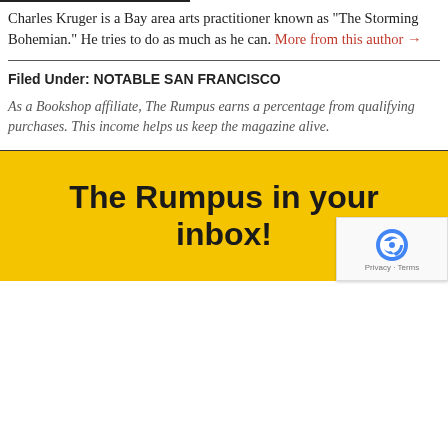Charles Kruger is a Bay area arts practitioner known as "The Storming Bohemian." He tries to do as much as he can. More from this author →
Filed Under: NOTABLE SAN FRANCISCO
As a Bookshop affiliate, The Rumpus earns a percentage from qualifying purchases. This income helps us keep the magazine alive.
The Rumpus in your inbox!